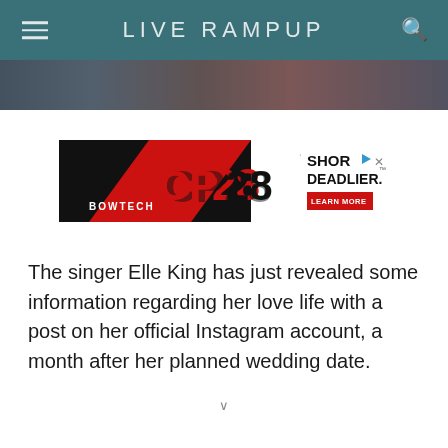LIVE RAMPUP
[Figure (screenshot): Dark photo strip showing a partially visible image, serving as a banner below the header.]
[Figure (photo): Bowtech CP28 crossbow advertisement banner. Black background on left with bow image, red diagonal slash, CP28 text in red and black, and right panel reading SHOR DEADLIER with LEARN MORE button in red.]
The singer Elle King has just revealed some information regarding her love life with a post on her official Instagram account, a month after her planned wedding date.